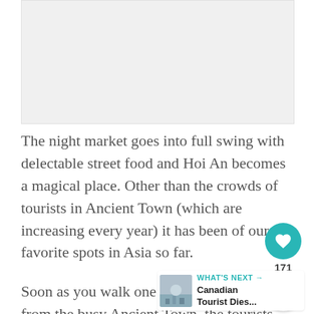[Figure (photo): Placeholder image area, light gray background]
The night market goes into full swing with delectable street food and Hoi An becomes a magical place. Other than the crowds of tourists in Ancient Town (which are increasing every year) it has been of our favorite spots in Asia so far.
Soon as you walk one or two blocks away from the busy Ancient Town, the tourists disappear